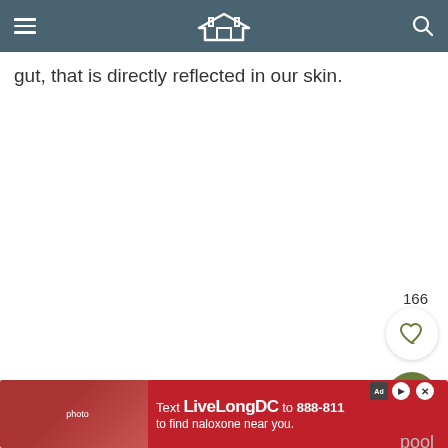gut, right? Our body is made up of what we eat and if we have an unhealthy diet and an unhealthy
gut, that is directly reflected in our skin.
[Figure (photo): Large image area placeholder (article image, mostly white/blank in this crop)]
Common foods that can contribute to acne and skin is
pool